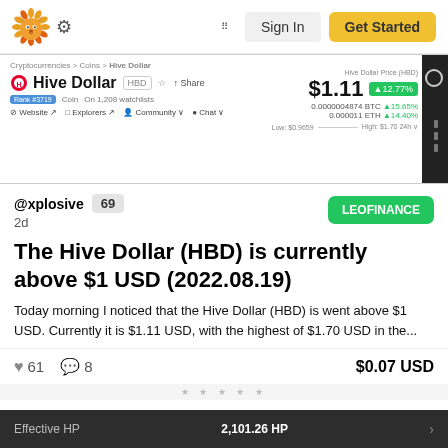[Figure (screenshot): Navigation bar with lion logo, gear icon, grid icon, Sign In button, and Get Started button]
[Figure (screenshot): CoinMarketCap screenshot showing Hive Dollar (HBD) price at $1.11, +12.77%, with BTC and ETH equivalents, low/high range, and navigation links]
@xplosive 69
2d
LEOFINANCE
The Hive Dollar (HBD) is currently above $1 USD (2022.08.19)
Today morning I noticed that the Hive Dollar (HBD) is went above $1 USD. Currently it is $1.11 USD, with the highest of $1.70 USD in the...
❤ 61  💬 8  $0.07 USD
Effective HP  2,101.26 HP